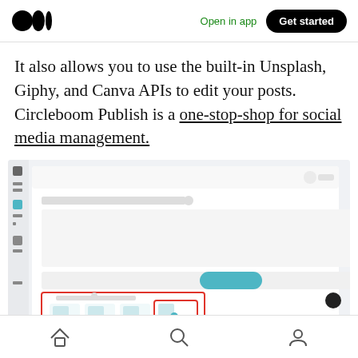Medium app header with logo, Open in app, Get started button
It also allows you to use the built-in Unsplash, Giphy, and Canva APIs to edit your posts. Circleboom Publish is a one-stop-shop for social media management.
[Figure (screenshot): Screenshot of Circleboom Publish interface showing a social media scheduling tool with icons for Canva, Unsplash, Giphy, and another API integration, with red border highlighting the bottom section]
Bottom navigation bar with home, search, and profile icons